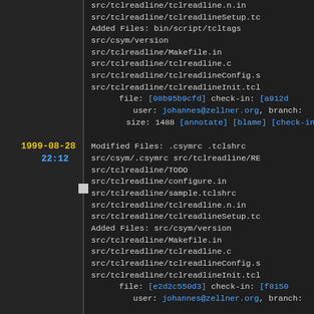src/tclreadline/tclreadline.n.in
src/tclreadline/tclreadlineSetup.tc
Added Files: bin/script/tcltags
src/csym/version
src/tclreadline/Makefile.in
src/tclreadline/tclreadline.c
src/tclreadline/tclreadlineConfig.s
src/tclreadline/tclreadlineInit.tcl
  file: [08b95b9cfd] check-in: [a912d...
  user: johannes@zellner.org, branch: ...
  size: 1488 [annotate] [blame] [check-ins ...]
1999-08-28
22:12
Modified Files: .csymrc .tclshrc
src/csym/.csymrc src/tclreadline/RE...
src/tclreadline/TODO
src/tclreadline/configure.in
src/tclreadline/sample.tclshrc
src/tclreadline/tclreadline.n.in
src/tclreadline/tclreadlineSetup.tc...
Added Files: src/csym/version
src/tclreadline/Makefile.in
src/tclreadline/tclreadline.c
src/tclreadline/tclreadlineConfig.s...
src/tclreadline/tclreadlineInit.tcl...
  file: [e2d2c550d3] check-in: [f8150...
  user: johannes@zellner.org, branch: ...